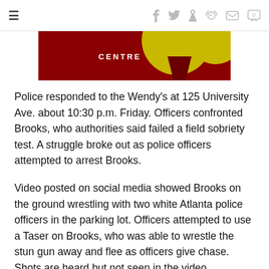≡  f  𝕏  p  ♂  ✉  💬
[Figure (other): Advertisement banner with dark red/maroon background, yellow circular shapes, and the word CENTRE in white bold text]
Police responded to the Wendy's at 125 University Ave. about 10:30 p.m. Friday. Officers confronted Brooks, who authorities said failed a field sobriety test. A struggle broke out as police officers attempted to arrest Brooks.
Video posted on social media showed Brooks on the ground wrestling with two white Atlanta police officers in the parking lot. Officers attempted to use a Taser on Brooks, who was able to wrestle the stun gun away and flee as officers give chase. Shots are heard but not seen in the video.